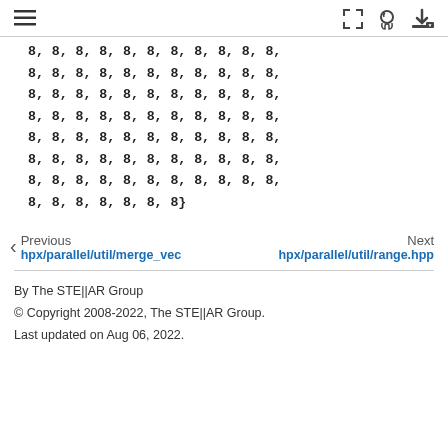≡ [icons: fullscreen, github, download]
8, 8, 8, 8, 8, 8, 8, 8, 8, 8, 8,
8, 8, 8, 8, 8, 8, 8, 8, 8, 8, 8,
8, 8, 8, 8, 8, 8, 8, 8, 8, 8, 8,
8, 8, 8, 8, 8, 8, 8, 8, 8, 8, 8,
8, 8, 8, 8, 8, 8, 8, 8, 8, 8, 8,
8, 8, 8, 8, 8, 8, 8, 8, 8, 8, 8,
8, 8, 8, 8, 8, 8, 8, 8, 8, 8, 8,
8, 8, 8, 8, 8, 8, 8}
Previous hpx/parallel/util/merge_vec | Next hpx/parallel/util/range.hpp
By The STE||AR Group
© Copyright 2008-2022, The STE||AR Group.
Last updated on Aug 06, 2022.